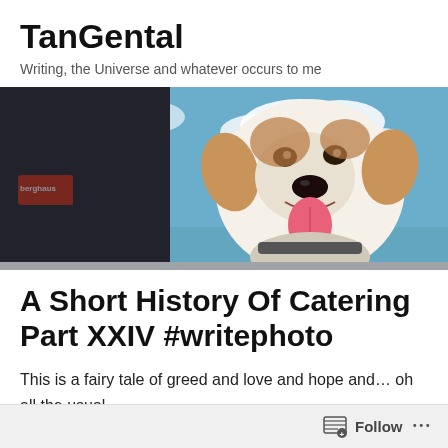TanGental
Writing, the Universe and whatever occurs to me
[Figure (photo): A happy dog (white and brown, mouth open and tongue out) photographed from below against a blue sky with clouds, next to a person wearing a black Berghaus jacket on the left side.]
A Short History Of Catering Part XXIV #writephoto
This is a fairy tale of greed and love and hope and… oh all the usual.
Follow ...